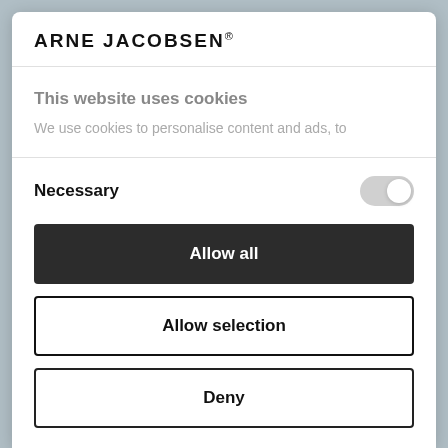ARNE JACOBSEN®
This website uses cookies
We use cookies to personalise content and ads, to
Necessary
Allow all
Allow selection
Deny
Powered by Cookiebot by Usercentrics